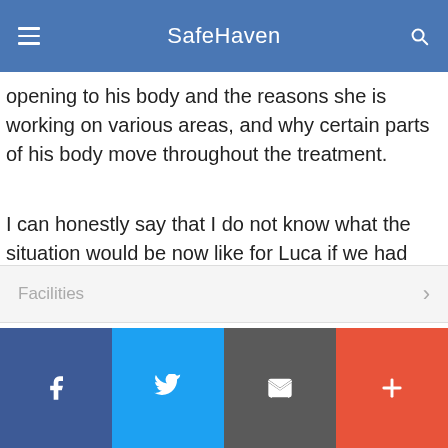SafeHaven
opening to his body and the reasons she is working on various areas, and why certain parts of his body move throughout the treatment.
I can honestly say that I do not know what the situation would be now like for Luca if we had not taken this route, I only hope other families become aware of how this treatment can assist them too."
D Early
Cheshire
Facilities
Facebook | Twitter | Email | Plus